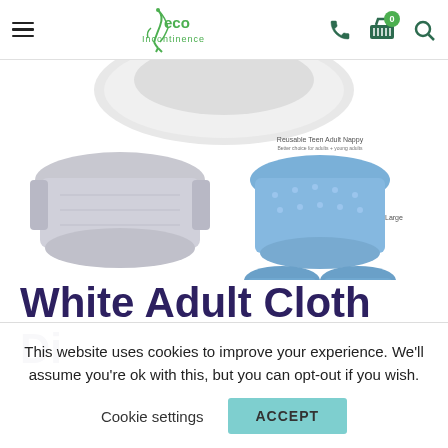eco Incontinence
[Figure (photo): Product images of white adult cloth diaper and blue adjustable adult nappy shown in multiple sizes]
White Adult Cloth Di...
This website uses cookies to improve your experience. We'll assume you're ok with this, but you can opt-out if you wish.
Cookie settings  ACCEPT